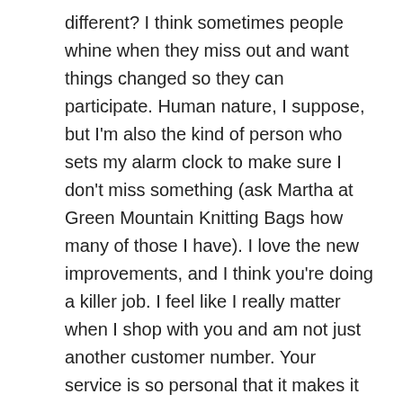different? I think sometimes people whine when they miss out and want things changed so they can participate. Human nature, I suppose, but I'm also the kind of person who sets my alarm clock to make sure I don't miss something (ask Martha at Green Mountain Knitting Bags how many of those I have). I love the new improvements, and I think you're doing a killer job. I feel like I really matter when I shop with you and am not just another customer number. Your service is so personal that it makes it all too easy to shop with you. That's not a complaint – it's my excuse for when I receive large, bulging boxes. I've taken to announcing (after the fact, of course) that you're having a Sneak-Up. Mark just groans now. I think after 17 years, he's finally trained. 🙂